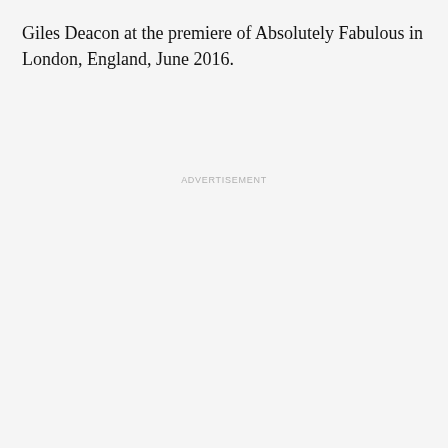Giles Deacon at the premiere of Absolutely Fabulous in London, England, June 2016.
ADVERTISEMENT